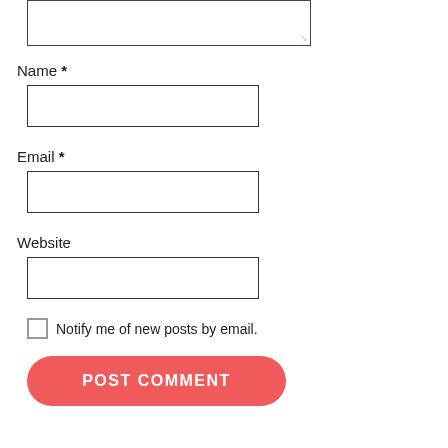[Figure (screenshot): Textarea input box (comment field) partially visible at top of page]
Name *
[Figure (screenshot): Name text input field]
Email *
[Figure (screenshot): Email text input field]
Website
[Figure (screenshot): Website text input field]
Notify me of new posts by email.
POST COMMENT